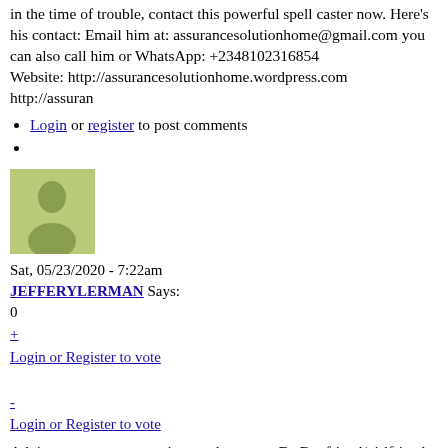in the time of trouble, contact this powerful spell caster now. Here's his contact: Email him at: assurancesolutionhome@gmail.com you can also call him or WhatsApp: +2348102316854 Website: http://assurancesolutionhome.wordpress.com  http://assur...
Login or register to post comments
[Figure (illustration): Generic user avatar silhouette on olive/light green background]
Sat, 05/23/2020 - 7:22am
JEFFERYLERMAN Says:
0
+
Login or Register to vote
-
Login or Register to vote
Advice to save your marriage and get your Ex Boyfriend/girlfriend back contact +1(424)-261-8520 for Um...st effective love Spell caster to bring back lo...